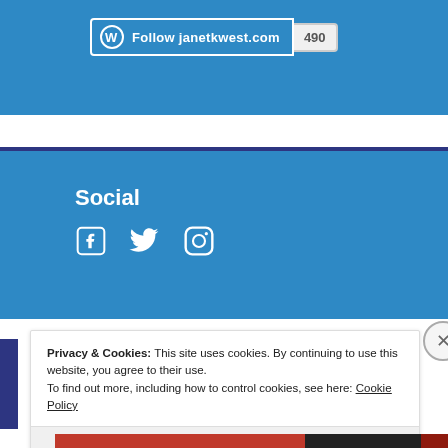[Figure (screenshot): WordPress Follow button for janetkwest.com with follower count 490 on a blue banner background]
Social
[Figure (infographic): Social media icons: Facebook, Twitter, Instagram in white on blue background]
Privacy & Cookies: This site uses cookies. By continuing to use this website, you agree to their use.
To find out more, including how to control cookies, see here: Cookie Policy
Close and accept